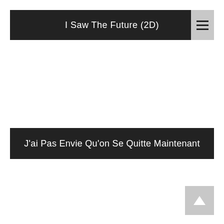I Saw The Future (2D)
J'ai Pas Envie Qu'on Se Quitte Maintenant